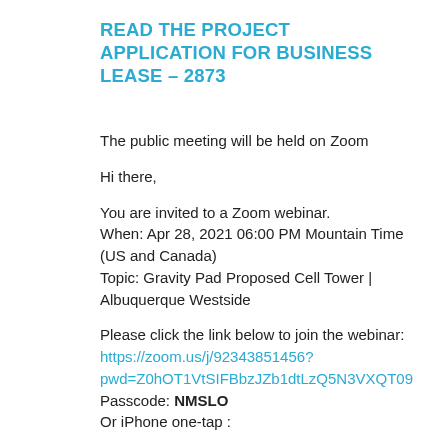READ THE PROJECT APPLICATION FOR BUSINESS LEASE – 2873
The public meeting will be held on Zoom
Hi there,
You are invited to a Zoom webinar.
When: Apr 28, 2021 06:00 PM Mountain Time (US and Canada)
Topic: Gravity Pad Proposed Cell Tower | Albuquerque Westside
Please click the link below to join the webinar:
https://zoom.us/j/92343851456?pwd=Z0hOT1VtSIFBbzJZb1dtLzQ5N3VXQT09
Passcode: NMSLO
Or iPhone one-tap :